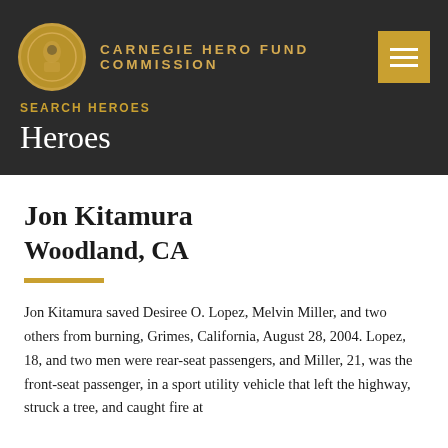CARNEGIE HERO FUND COMMISSION
SEARCH HEROES
Heroes
Jon Kitamura
Woodland, CA
Jon Kitamura saved Desiree O. Lopez, Melvin Miller, and two others from burning, Grimes, California, August 28, 2004. Lopez, 18, and two men were rear-seat passengers, and Miller, 21, was the front-seat passenger, in a sport utility vehicle that left the highway, struck a tree, and caught fire at